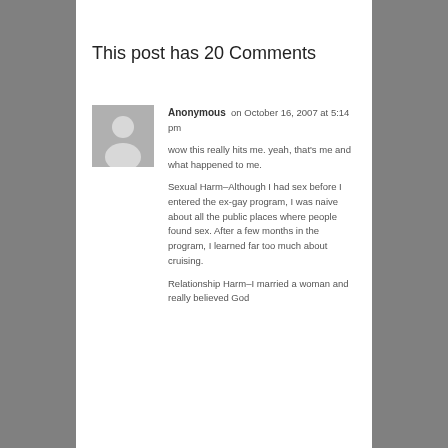This post has 20 Comments
Anonymous on October 16, 2007 at 5:14 pm

wow this really hits me. yeah, that's me and what happened to me.

Sexual Harm–Although I had sex before I entered the ex-gay program, I was naive about all the public places where people found sex. After a few months in the program, I learned far too much about cruising.

Relationship Harm–I married a woman and really believed God